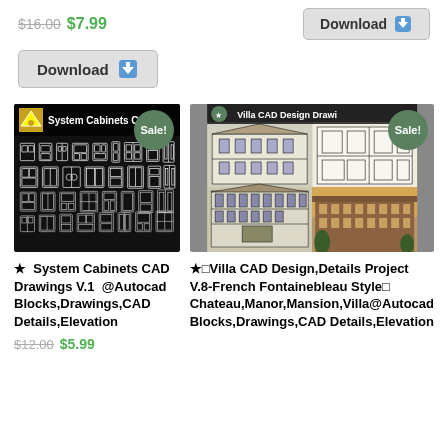$16.00 $7.99
[Figure (other): Download button top right]
[Figure (other): Download button left]
[Figure (illustration): System Cabinets CAD Drawings product image showing CAD blocks of cabinet drawings on black background with Sale! badge]
[Figure (illustration): Villa CAD Design Drawings product image showing French chateau/manor architectural drawings and photos with Sale! badge]
★  System Cabinets CAD Drawings V.1  @Autocad Blocks,Drawings,CAD Details,Elevation
$12.00 $5.99
★□Villa CAD Design,Details Project V.8-French Fontainebleau Style□ Chateau,Manor,Mansion,Villa@Autocad Blocks,Drawings,CAD Details,Elevation